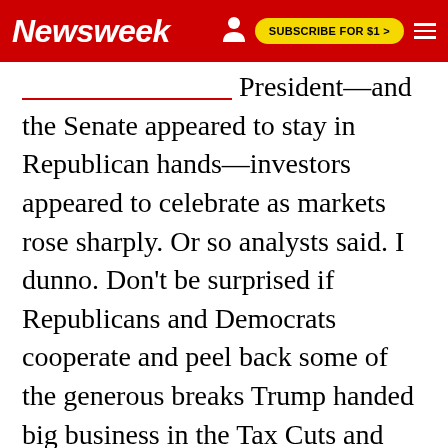Newsweek | SUBSCRIBE FOR $1 >
President—and the Senate appeared to stay in Republican hands—investors appeared to celebrate as markets rose sharply. Or so analysts said. I dunno. Don't be surprised if Republicans and Democrats cooperate and peel back some of the generous breaks Trump handed big business in the Tax Cuts and Jobs Act of 2017. Someone is going to have to pay for COVID. And, by the way, how is the "jobs" part of that bill working out? Still waiting...One Final Thing: Take a minute and read Allan